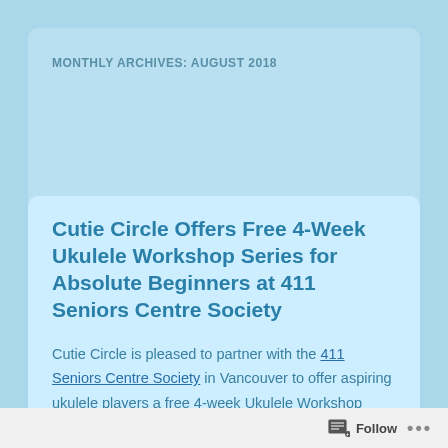MONTHLY ARCHIVES: AUGUST 2018
Cutie Circle Offers Free 4-Week Ukulele Workshop Series for Absolute Beginners at 411 Seniors Centre Society
Cutie Circle is pleased to partner with the 411 Seniors Centre Society in Vancouver to offer aspiring ukulele players a free 4-week Ukulele Workshop Series for Absolute Beginners on Monday afternoons this fall.